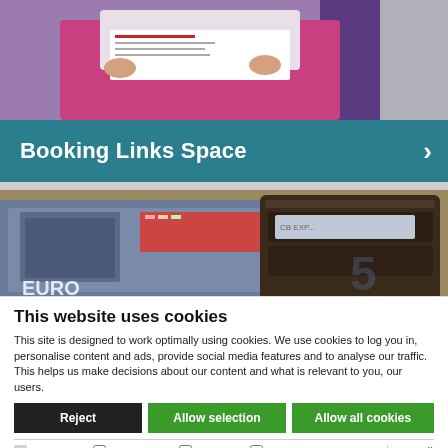[Figure (photo): Photo of a person sitting in a purple/teal chair, reading or writing in a book, wearing pink trousers. Only the lower body and hands are visible.]
Booking Links Space >
[Figure (photo): Close-up photo of Euro banknotes and a leather wallet.]
This website uses cookies
This site is designed to work optimally using cookies. We use cookies to log you in, personalise content and ads, provide social media features and to analyse our traffic. This helps us make decisions about our content and what is relevant to you, our users.
Reject | Allow selection | Allow all cookies
✓ Necessary  □ Preferences  □ Statistics  □ Marketing  Show details ▾